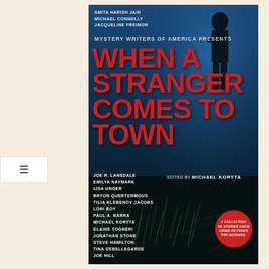[Figure (illustration): Book cover for 'When a Stranger Comes to Town' — Mystery Writers of America anthology edited by Michael Koryta. Dark blue cover with silhouette of a figure, large red distressed title text, list of contributing authors in white, and a red circular badge reading 'A Collection of Stories from Crime Fiction's Top Authors.']